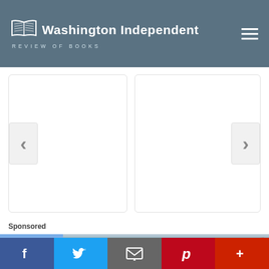[Figure (logo): Washington Independent Review of Books logo with open book icon and site name/subtitle on dark teal-gray header background]
Washington Independent
REVIEW OF BOOKS
[Figure (screenshot): Left content card with left-arrow navigation chevron, empty white card with rounded border]
[Figure (screenshot): Right content card with right-arrow navigation chevron, empty white card with rounded border]
Sponsored
[Figure (photo): Sponsored advertisement image showing a building with a red banner/sign, with blue block on left side]
[Figure (infographic): Social media sharing bar with Facebook, Twitter, Email, Pinterest, and More (+) buttons]